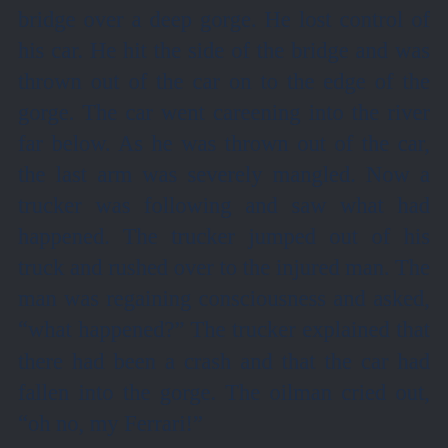bridge over a deep gorge. He lost control of his car. He hit the side of the bridge and was thrown out of the car on to the edge of the gorge. The car went careening into the river far below. As he was thrown out of the car, the last arm was severely mangled. Now a trucker was following and saw what had happened. The trucker jumped out of his truck and rushed over to the injured man. The man was regaining consciousness and asked, “what happened?” The trucker explained that there had been a crash and that the car had fallen into the gorge. The oilman cried out, “oh no, my Ferrari!”